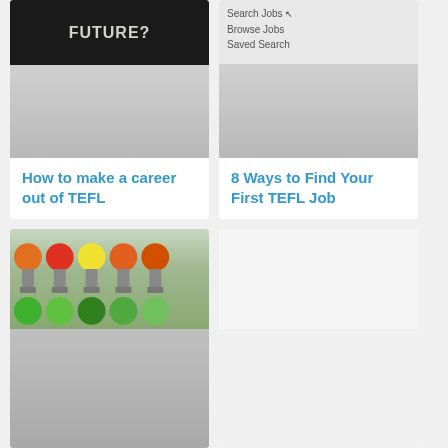[Figure (photo): Blackboard with chalk writing showing 'FUTURE?' text]
How to make a career out of TEFL
[Figure (screenshot): Job search website interface showing 'Search Jobs', 'Browse Jobs', 'Saved Search' menu items]
8 Ways to Find Your First TEFL Job
[Figure (photo): Row of colorful gumball/candy machines filled with multicolored candies]
[Figure (photo): White/light gray image placeholder for fourth card]